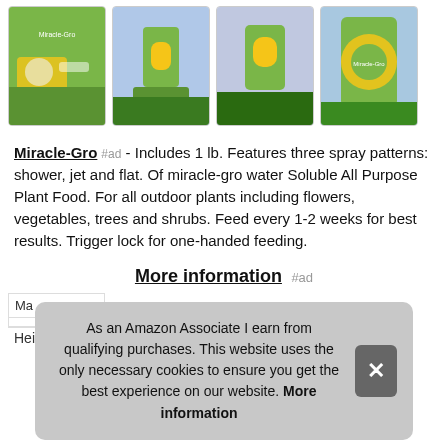[Figure (photo): Four product photos of Miracle-Gro garden feeder sprayer device shown in use outdoors]
Miracle-Gro #ad - Includes 1 lb. Features three spray patterns: shower, jet and flat. Of miracle-gro water Soluble All Purpose Plant Food. For all outdoor plants including flowers, vegetables, trees and shrubs. Feed every 1-2 weeks for best results. Trigger lock for one-handed feeding.
More information #ad
As an Amazon Associate I earn from qualifying purchases. This website uses the only necessary cookies to ensure you get the best experience on our website. More information
| Ma |
| Height | 7.25 Inches |